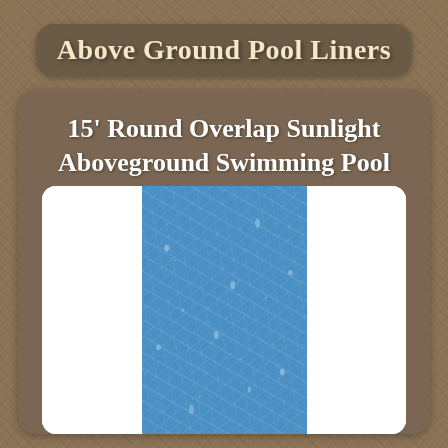Above Ground Pool Liners
15' Round Overlap Sunlight Aboveground Swimming Pool Liner 20 Gauge
[Figure (illustration): Product image showing a pool liner sample with a blue patterned center stripe flanked by white sections on both sides, displayed on a brown card background.]